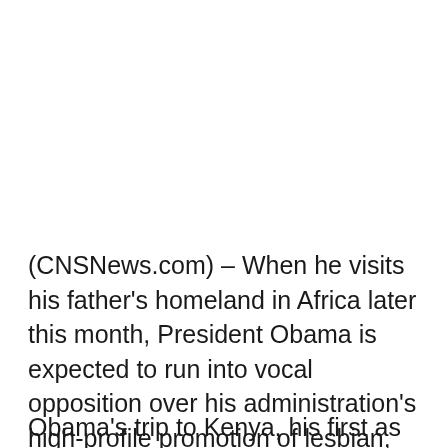(CNSNews.com) – When he visits his father's homeland in Africa later this month, President Obama is expected to run into vocal opposition over his administration's high-profile promotion of lesbian, gay, bisexual and transgender (LGBT) issues.
Obama's trip to Kenya, his first as president,